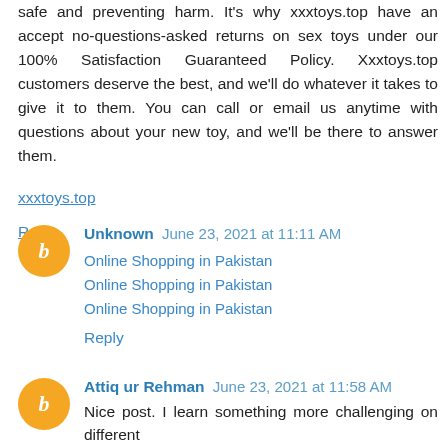safe and preventing harm. It's why xxxtoys.top have an accept no-questions-asked returns on sex toys under our 100% Satisfaction Guaranteed Policy. Xxxtoys.top customers deserve the best, and we'll do whatever it takes to give it to them. You can call or email us anytime with questions about your new toy, and we'll be there to answer them.
xxxtoys.top
Reply
Unknown June 23, 2021 at 11:11 AM
Online Shopping in Pakistan
Online Shopping in Pakistan
Online Shopping in Pakistan
Reply
Attiq ur Rehman June 23, 2021 at 11:58 AM
Nice post. I learn something more challenging on different